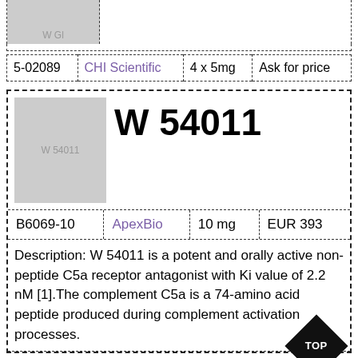| ID | Supplier | Quantity | Price |
| --- | --- | --- | --- |
| 5-02089 | CHI Scientific | 4 x 5mg | Ask for price |
[Figure (other): Product image placeholder for W 54011 compound]
W 54011
| ID | Supplier | Quantity | Price |
| --- | --- | --- | --- |
| B6069-10 | ApexBio | 10 mg | EUR 393 |
Description: W 54011 is a potent and orally active non-peptide C5a receptor antagonist with Ki value of 2.2 nM [1].The complement C5a is a 74-amino acid peptide produced during complement activation processes.